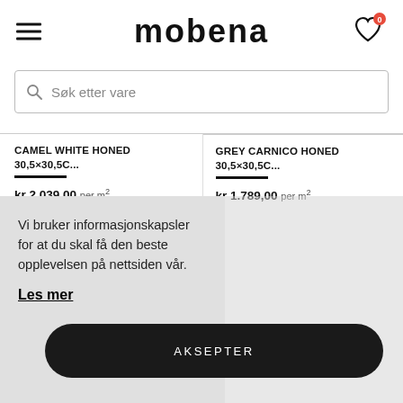mobena
Søk etter vare
CAMEL WHITE HONED 30,5×30,5C...
kr 2.039,00 per m²
GREY CARNICO HONED 30,5×30,5C...
kr 1.789,00 per m²
Vi bruker informasjonskapsler for at du skal få den beste opplevelsen på nettsiden vår.
Les mer
AKSEPTER